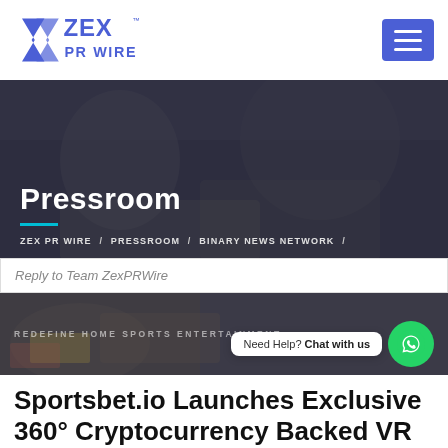[Figure (logo): ZEX PR WIRE logo with blue chevron/Z graphic and blue text]
[Figure (photo): Dark hero banner showing people working at a desk, with 'Pressroom' title overlay and cyan underline, breadcrumb navigation: ZEX PR WIRE / PRESSROOM / BINARY NEWS NETWORK /]
Reply to Team ZexPRWire
[Figure (photo): Dark photo of people at desk with overlaid text REDEFINE HOME SPORTS ENTERTAINMENT, and a WhatsApp chat bubble saying 'Need Help? Chat with us']
Sportsbet.io Launches Exclusive 360° Cryptocurrency Backed VR Video Experience to Redefine Home Sports Entertainment